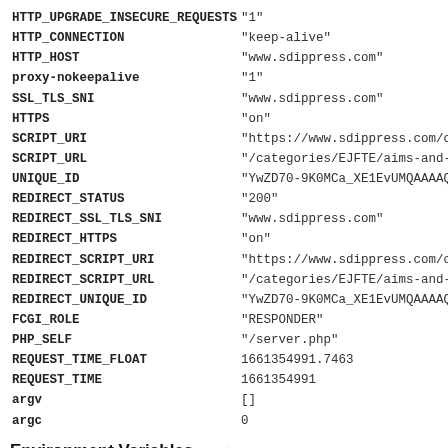| Key | Value |
| --- | --- |
| HTTP_UPGRADE_INSECURE_REQUESTS | "1" |
| HTTP_CONNECTION | "keep-alive" |
| HTTP_HOST | "www.sdippress.com" |
| proxy-nokeepalive | "1" |
| SSL_TLS_SNI | "www.sdippress.com" |
| HTTPS | "on" |
| SCRIPT_URI | "https://www.sdippress.com/c |
| SCRIPT_URL | "/categories/EJFTE/aims-and- |
| UNIQUE_ID | "YwZD70-9K0MCa_XE1EvUMQAAAAC |
| REDIRECT_STATUS | "200" |
| REDIRECT_SSL_TLS_SNI | "www.sdippress.com" |
| REDIRECT_HTTPS | "on" |
| REDIRECT_SCRIPT_URI | "https://www.sdippress.com/c |
| REDIRECT_SCRIPT_URL | "/categories/EJFTE/aims-and- |
| REDIRECT_UNIQUE_ID | "YwZD70-9K0MCa_XE1EvUMQAAAAC |
| FCGI_ROLE | "RESPONDER" |
| PHP_SELF | "/server.php" |
| REQUEST_TIME_FLOAT | 1661354991.7463 |
| REQUEST_TIME | 1661354991 |
| argv | [] |
| argc | 0 |
Environment Variables empty
Registered Handlers